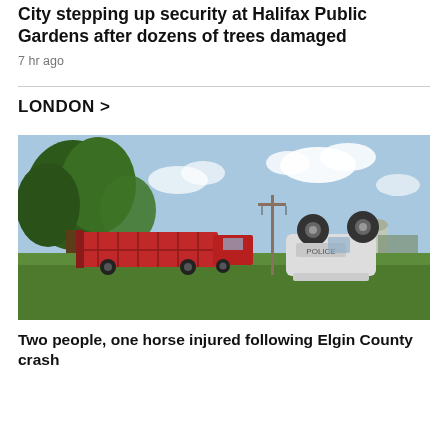City stepping up security at Halifax Public Gardens after dozens of trees damaged
7 hr ago
LONDON >
[Figure (photo): Outdoor rural scene showing an overturned white vehicle on a grassy field, with a red cattle trailer/truck visible to the left, a utility pole in the background, a silo on the right, and large green trees to the left under a partly cloudy sky.]
Two people, one horse injured following Elgin County crash